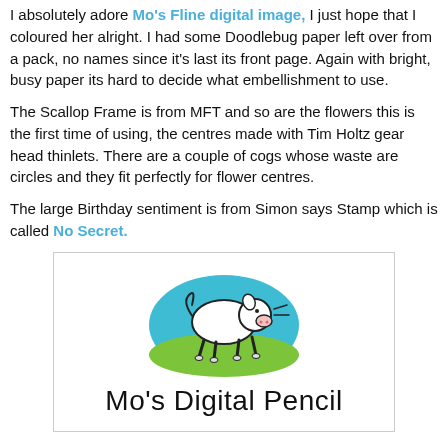I absolutely adore Mo's Fline digital image, I just hope that I coloured her alright. I had some Doodlebug paper left over from a pack, no names since it's last its front page. Again with bright, busy paper its hard to decide what embellishment to use.
The Scallop Frame is from MFT and so are the flowers this is the first time of using, the centres made with Tim Holtz gear head thinlets. There are a couple of cogs whose waste are circles and they fit perfectly for flower centres.
The large Birthday sentiment is from Simon says Stamp which is called No Secret.
[Figure (logo): Mo's Digital Pencil logo: a white pig running inside a teal and green oval, with the text 'Mo’s Digital Pencil' below in a hand-drawn font]